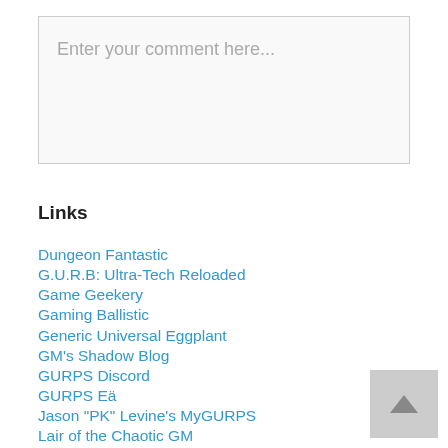[Figure (other): Text input box with placeholder text 'Enter your comment here...']
Links
Dungeon Fantastic
G.U.R.B: Ultra-Tech Reloaded
Game Geekery
Gaming Ballistic
Generic Universal Eggplant
GM's Shadow Blog
GURPS Discord
GURPS Eä
Jason "PK" Levine's MyGURPS
Lair of the Chaotic GM
Mailanka's Musings